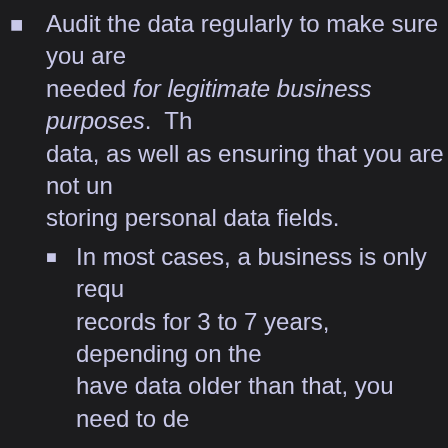Audit the data regularly to make sure you are needed for legitimate business purposes. The data, as well as ensuring that you are not un- storing personal data fields.
In most cases, a business is only requ- records for 3 to 7 years, depending on the have data older than that, you need to de-
If you have data fields that are necess- check, you need to store them temporarily when no longer needed. Those data field- as the transaction, and no longer. 3 mon- than sufficient.
If you want to store demographic information birthday cards in a quaint attempt to appear use legitimate techniques to anonymize the-